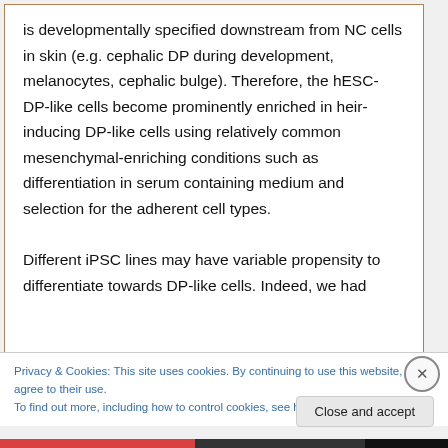is developmentally specified downstream from NC cells in skin (e.g. cephalic DP during development, melanocytes, cephalic bulge). Therefore, the hESC-DP-like cells become prominently enriched in heir-inducing DP-like cells using relatively common mesenchymal-enriching conditions such as differentiation in serum containing medium and selection for the adherent cell types.

Different iPSC lines may have variable propensity to differentiate towards DP-like cells. Indeed, we had
Privacy & Cookies: This site uses cookies. By continuing to use this website, you agree to their use.
To find out more, including how to control cookies, see here: Cookie Policy